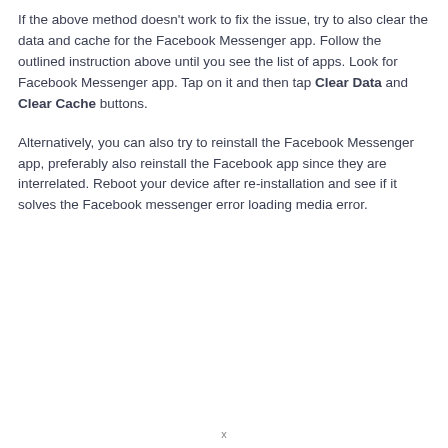If the above method doesn't work to fix the issue, try to also clear the data and cache for the Facebook Messenger app. Follow the outlined instruction above until you see the list of apps. Look for Facebook Messenger app. Tap on it and then tap Clear Data and Clear Cache buttons.
Alternatively, you can also try to reinstall the Facebook Messenger app, preferably also reinstall the Facebook app since they are interrelated. Reboot your device after re-installation and see if it solves the Facebook messenger error loading media error.